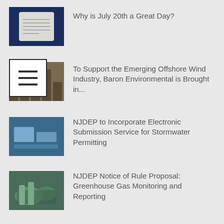Why is July 20th a Great Day?
To Support the Emerging Offshore Wind Industry, Baron Environmental is Brought in...
NJDEP to Incorporate Electronic Submission Service for Stormwater Permitting
NJDEP Notice of Rule Proposal: Greenhouse Gas Monitoring and Reporting